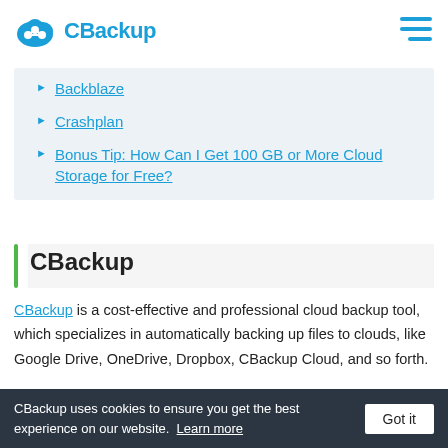CBackup
Backblaze
Crashplan
Bonus Tip: How Can I Get 100 GB or More Cloud Storage for Free?
CBackup
CBackup is a cost-effective and professional cloud backup tool, which specializes in automatically backing up files to clouds, like Google Drive, OneDrive, Dropbox, CBackup Cloud, and so forth.
CBackup uses cookies to ensure you get the best experience on our website. Learn more   Got it